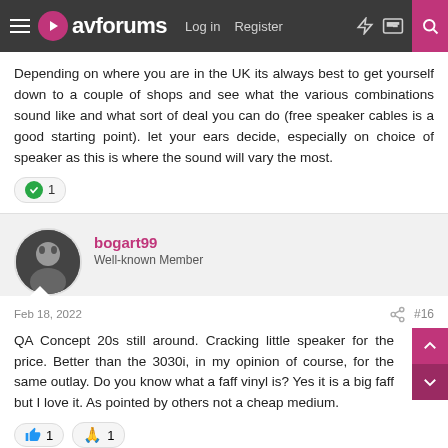avforums | Log in | Register
Depending on where you are in the UK its always best to get yourself down to a couple of shops and see what the various combinations sound like and what sort of deal you can do (free speaker cables is a good starting point). let your ears decide, especially on choice of speaker as this is where the sound will vary the most.
bogart99 Well-known Member
Feb 18, 2022 #16
QA Concept 20s still around. Cracking little speaker for the price. Better than the 3030i, in my opinion of course, for the same outlay. Do you know what a faff vinyl is? Yes it is a big faff but I love it. As pointed by others not a cheap medium.